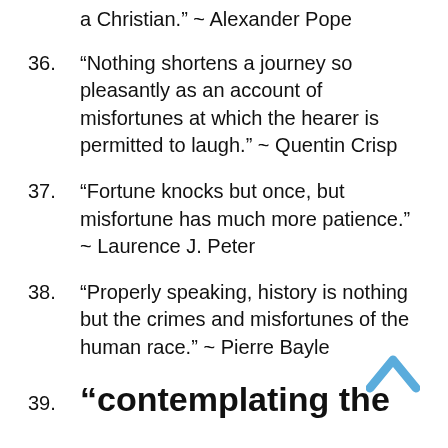a Christian." ~ Alexander Pope
36. “Nothing shortens a journey so pleasantly as an account of misfortunes at which the hearer is permitted to laugh.” ~ Quentin Crisp
37. “Fortune knocks but once, but misfortune has much more patience.” ~ Laurence J. Peter
38. “Properly speaking, history is nothing but the crimes and misfortunes of the human race.” ~ Pierre Bayle
39. “contemplating the